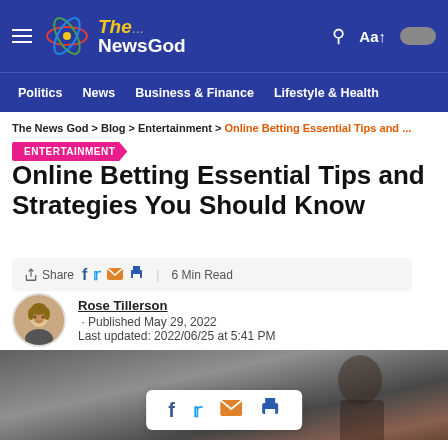The NewsGod — Politics | News | Business & Finance | Lifestyle & Health
The News God > Blog > Entertainment > Online Betting Essential Tips and ...
ENTERTAINMENT
Online Betting Essential Tips and Strategies You Should Know
Share | 6 Min Read
Rose Tillerson · Published May 29, 2022
Last updated: 2022/06/25 at 5:41 PM
[Figure (photo): Featured article image with a blurred figure, overlaid with a social sharing bar showing Facebook, Twitter, email, and print icons on a white rounded card.]